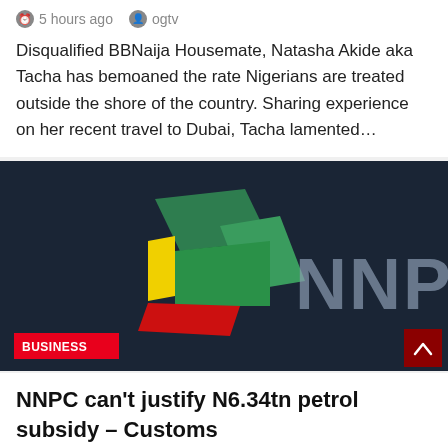5 hours ago   ogtv
Disqualified BBNaija Housemate, Natasha Akide aka Tacha has bemoaned the rate Nigerians are treated outside the shore of the country. Sharing experience on her recent travel to Dubai, Tacha lamented…
[Figure (logo): NNPC logo on dark navy background with geometric shapes in green, yellow, and red. A 'BUSINESS' tag in red is shown at the bottom left, and a scroll-up button in dark red at bottom right.]
NNPC can't justify N6.34tn petrol subsidy – Customs